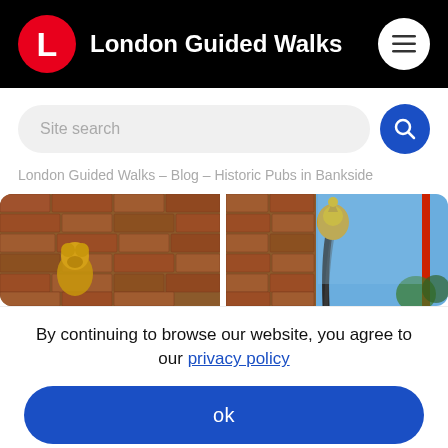London Guided Walks
Site search
London Guided Walks – Blog – Historic Pubs in Bankside
[Figure (photo): Two side-by-side photos showing historic pub exterior details: brick walls, golden decorative elements, street lamp with golden ornament, and blue sky with foliage.]
By continuing to browse our website, you agree to our privacy policy
ok